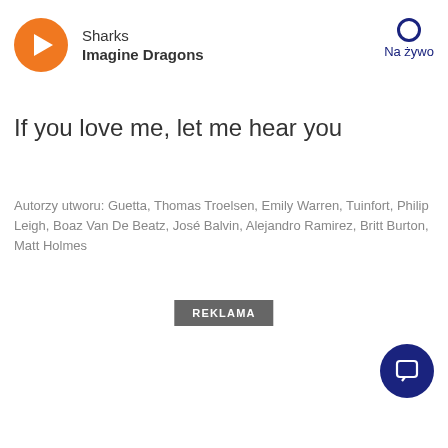[Figure (illustration): Orange circular play button with white triangle]
Sharks
Imagine Dragons
[Figure (illustration): Na żywo live badge with dark blue circle outline and text]
If you love me, let me hear you
Autorzy utworu: Guetta, Thomas Troelsen, Emily Warren, Tuinfort, Philip Leigh, Boaz Van De Beatz, José Balvin, Alejandro Ramirez, Britt Burton, Matt Holmes
REKLAMA
[Figure (illustration): Dark navy blue circular chat/message button in bottom right corner]